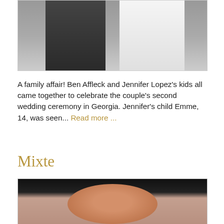[Figure (photo): A couple standing together, man in dark suit on the left, woman in white dress on the right]
A family affair! Ben Affleck and Jennifer Lopez's kids all came together to celebrate the couple's second wedding ceremony in Georgia. Jennifer's child Emme, 14, was seen... Read more ...
Mixte
[Figure (photo): A young woman with wild black hair laughing with eyes closed, wearing earrings, against a mauve/pink background]